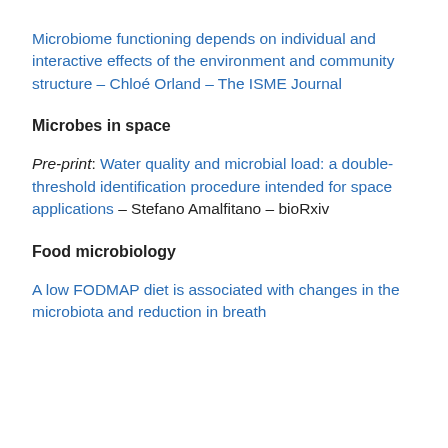Microbiome functioning depends on individual and interactive effects of the environment and community structure – Chloé Orland – The ISME Journal
Microbes in space
Pre-print: Water quality and microbial load: a double-threshold identification procedure intended for space applications – Stefano Amalfitano – bioRxiv
Food microbiology
A low FODMAP diet is associated with changes in the microbiota and reduction in breath